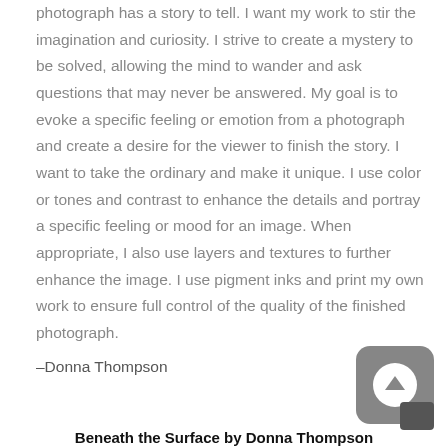photograph has a story to tell. I want my work to stir the imagination and curiosity. I strive to create a mystery to be solved, allowing the mind to wander and ask questions that may never be answered. My goal is to evoke a specific feeling or emotion from a photograph and create a desire for the viewer to finish the story. I want to take the ordinary and make it unique. I use color or tones and contrast to enhance the details and portray a specific feeling or mood for an image. When appropriate, I also use layers and textures to further enhance the image. I use pigment inks and print my own work to ensure full control of the quality of the finished photograph.
–Donna Thompson
[Figure (other): Upload/share icon — rounded grey square with white circle containing upward arrow, plus a small dark rectangle below-right]
Beneath the Surface by Donna Thompson